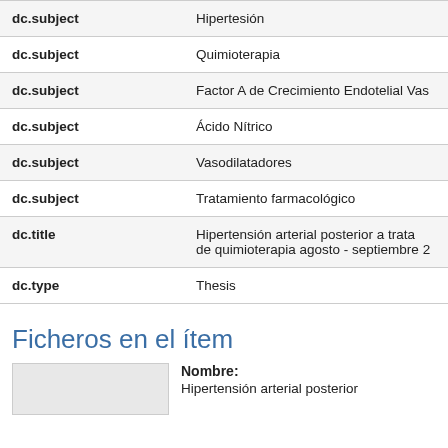| Field | Value |
| --- | --- |
| dc.subject | Hipertesión |
| dc.subject | Quimioterapia |
| dc.subject | Factor A de Crecimiento Endotelial Vas |
| dc.subject | Ácido Nítrico |
| dc.subject | Vasodilatadores |
| dc.subject | Tratamiento farmacológico |
| dc.title | Hipertensión arterial posterior a trata de quimioterapia agosto - septiembre 2 |
| dc.type | Thesis |
Ficheros en el ítem
Nombre:
Hipertensión arterial posterior